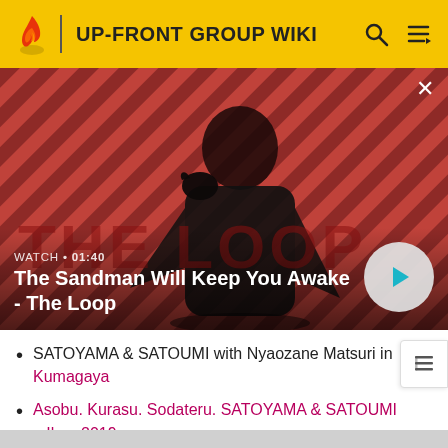UP-FRONT GROUP WIKI
[Figure (screenshot): Video thumbnail showing a dark-clothed person with a raven on their shoulder against a red diagonal striped background. Text overlay: WATCH • 01:40, The Sandman Will Keep You Awake - The Loop. Play button visible at bottom right.]
SATOYAMA & SATOUMI with Nyaozane Matsuri in Kumagaya
Asobu. Kurasu. Sodateru. SATOYAMA & SATOUMI e Ikou 2019